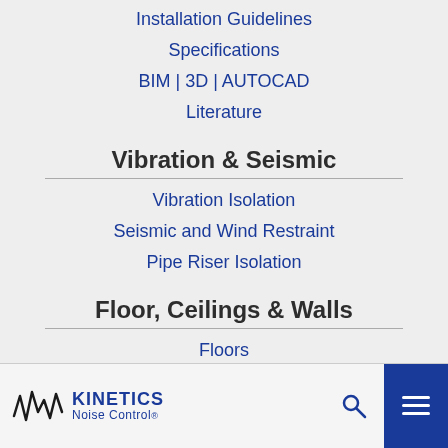Installation Guidelines
Specifications
BIM | 3D | AUTOCAD
Literature
Vibration & Seismic
Vibration Isolation
Seismic and Wind Restraint
Pipe Riser Isolation
Floor, Ceilings & Walls
Floors
Ceilings
Kinetics Noise Control